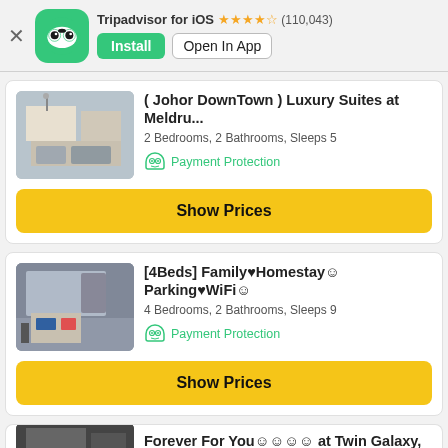[Figure (screenshot): Tripadvisor app banner with owl logo, install and open in app buttons, and listing cards for vacation rentals in Johor]
Tripadvisor for iOS ★★★★½ (110,043)
Install
Open In App
( Johor DownTown ) Luxury Suites at Meldru...
2 Bedrooms, 2 Bathrooms, Sleeps 5
Payment Protection
Show Prices
[4Beds] Family♥Homestay☻Parking♥WiFi☻
4 Bedrooms, 2 Bathrooms, Sleeps 9
Payment Protection
Show Prices
Forever For You☻☻☻☻ at Twin Galaxy, Johor